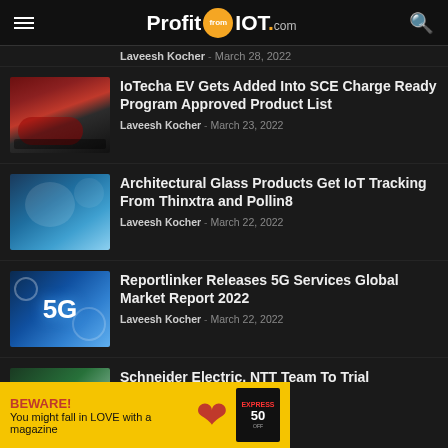ProfitFromIOT.com
Laveesh Kocher - March 28, 2022
IoTecha EV Gets Added Into SCE Charge Ready Program Approved Product List
Laveesh Kocher - March 23, 2022
Architectural Glass Products Get IoT Tracking From Thinxtra and Pollin8
Laveesh Kocher - March 22, 2022
Reportlinker Releases 5G Services Global Market Report 2022
Laveesh Kocher - March 22, 2022
Schneider Electric, NTT Team To Trial
[Figure (infographic): Advertisement banner: BEWARE! You might fall in LOVE with a magazine. Yellow background with red heart and Express magazine cover.]